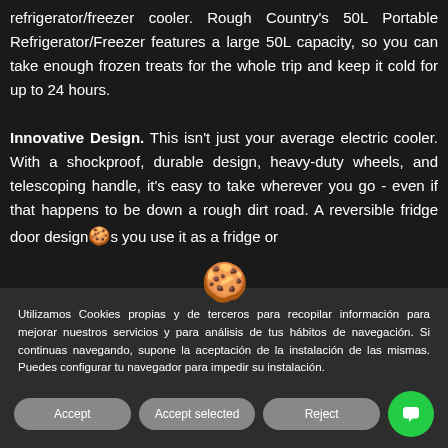refrigerator/freezer cooler. Rough Country's 50L Portable Refrigerator/Freezer features a large 50L capacity, so you can take enough frozen treats for the whole trip and keep it cold for up to 24 hours.
Innovative Design. This isn't just your average electric cooler. With a shockproof, durable design, heavy-duty wheels, and telescoping handle, it's easy to take wherever you go - even if that happens to be down a rough dirt road. A reversible fridge door design lets you use it as a fridge or
[Figure (other): Cookie consent overlay with cookie emoji icon, Spanish language consent text, and three buttons: Accept, Accept selected, Reject, plus a green chat button]
Utilizamos Cookies propias y de terceros para recopilar información para mejorar nuestros servicios y para análisis de tus hábitos de navegación. Si continuas navegando, supone la aceptación de la instalación de las mismas. Puedes configurar tu navegador para impedir su instalación.